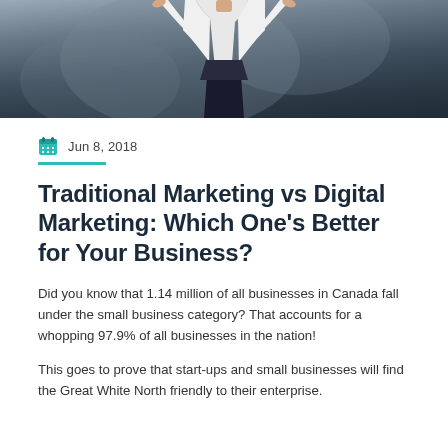[Figure (photo): A person in a white shirt and dark skirt/pants, arms raised, photographed against a dark blurred background. Only the torso and lower body are partially visible at the bottom of the cropped image.]
Jun 8, 2018
Traditional Marketing vs Digital Marketing: Which One's Better for Your Business?
Did you know that 1.14 million of all businesses in Canada fall under the small business category? That accounts for a whopping 97.9% of all businesses in the nation!
This goes to prove that start-ups and small businesses will find the Great White North friendly to their enterprise.